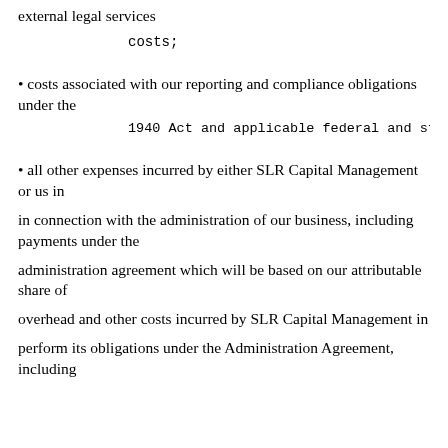external legal services
costs;
• costs associated with our reporting and compliance obligations under the
1940 Act and applicable federal and state secu
• all other expenses incurred by either SLR Capital Management or us in
in connection with the administration of our business, including payments under the
administration agreement which will be based on our attributable share of
overhead and other costs incurred by SLR Capital Management in
perform its obligations under the Administration Agreement, including